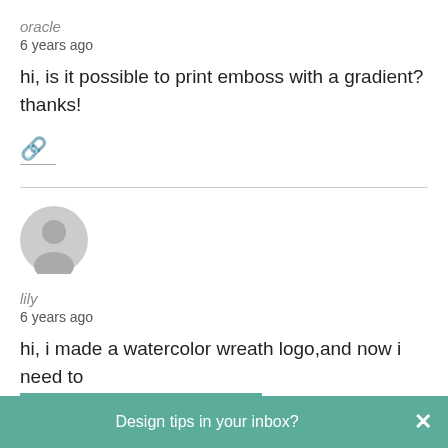oracle
6 years ago
hi, is it possible to print emboss with a gradient? thanks!
[Figure (illustration): Link/chain icon with a short underline below it]
[Figure (illustration): Gray default user avatar circle icon]
lily
6 years ago
hi, i made a watercolor wreath logo,and now i need to transfer it to black and white,
Design tips in your inbox?